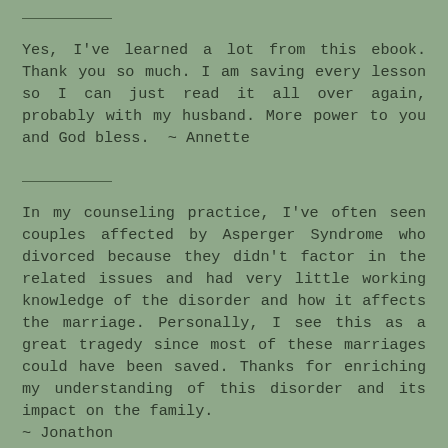Yes, I've learned a lot from this ebook. Thank you so much. I am saving every lesson so I can just read it all over again, probably with my husband. More power to you and God bless.  ~ Annette
In my counseling practice, I've often seen couples affected by Asperger Syndrome who divorced because they didn't factor in the related issues and had very little working knowledge of the disorder and how it affects the marriage. Personally, I see this as a great tragedy since most of these marriages could have been saved. Thanks for enriching my understanding of this disorder and its impact on the family. ~ Jonathon
Your ebook was an eye-opener. I enjoyed how it was